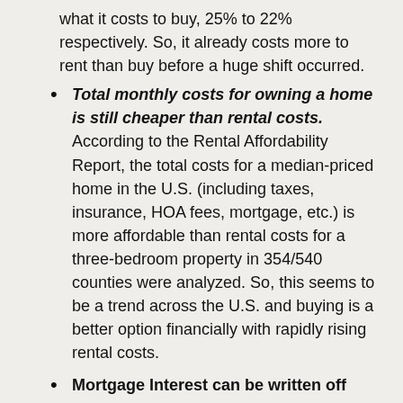what it costs to buy, 25% to 22% respectively. So, it already costs more to rent than buy before a huge shift occurred.
Total monthly costs for owning a home is still cheaper than rental costs. According to the Rental Affordability Report, the total costs for a median-priced home in the U.S. (including taxes, insurance, HOA fees, mortgage, etc.) is more affordable than rental costs for a three-bedroom property in 354/540 counties were analyzed. So, this seems to be a trend across the U.S. and buying is a better option financially with rapidly rising rental costs.
Mortgage Interest can be written off which can dramatically affect your taxes. See your accountant as always with latest tax laws but a large portion or all of your home interest can be written off for tax purposes depending on the price of your home.
Lock in on your home payments. Where rent can continue to rise in your area. If you purchase a home at